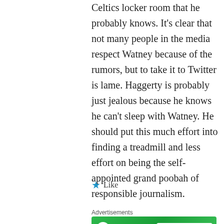Celtics locker room that he probably knows. It's clear that not many people in the media respect Watney because of the rumors, but to take it to Twitter is lame. Haggerty is probably just jealous because he knows he can't sleep with Watney. He should put this much effort into finding a treadmill and less effort on being the self-appointed grand poobah of responsible journalism.
★ Like
Advertisements
[Figure (illustration): Jetpack advertisement banner with green background, white circular logo with lightning bolt, 'Jetpack' text in white, and 'Back up your site' button]